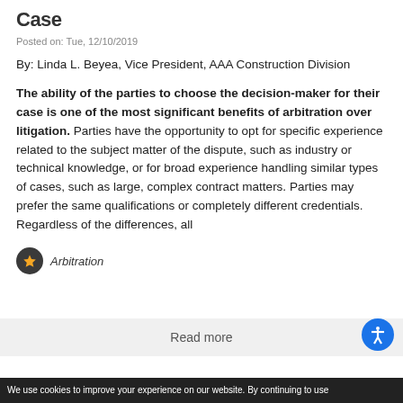Case
Posted on: Tue, 12/10/2019
By: Linda L. Beyea, Vice President, AAA Construction Division
The ability of the parties to choose the decision-maker for their case is one of the most significant benefits of arbitration over litigation. Parties have the opportunity to opt for specific experience related to the subject matter of the dispute, such as industry or technical knowledge, or for broad experience handling similar types of cases, such as large, complex contract matters. Parties may prefer the same qualifications or completely different credentials. Regardless of the differences, all
Arbitration
Read more
We use cookies to improve your experience on our website. By continuing to use